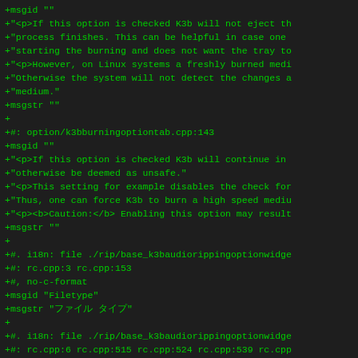+msgid ""
+"<p>If this option is checked K3b will not eject th
+"process finishes. This can be helpful in case one
+"starting the burning and does not want the tray to
+"<p>However, on Linux systems a freshly burned medi
+"Otherwise the system will not detect the changes a
+"medium."
+msgstr ""
+
+#: option/k3bburningoptiontab.cpp:143
+msgid ""
+"<p>If this option is checked K3b will continue in
+"otherwise be deemed as unsafe."
+"<p>This setting for example disables the check for
+"Thus, one can force K3b to burn a high speed mediu
+"<p><b>Caution:</b> Enabling this option may result
+msgstr ""
+
+#. i18n: file ./rip/base_k3baudiorippingoptionwidge
+#: rc.cpp:3 rc.cpp:153
+#, no-c-format
+msgid "Filetype"
+msgstr "ファイル タイプ"
+
+#. i18n: file ./rip/base_k3baudiorippingoptionwidge
+#: rc.cpp:6 rc.cpp:515 rc.cpp:524 rc.cpp:539 rc.cpp
+#: rc.cpp:967 rc.cpp:973 rc.cpp:1005 rc.cpp:1011
+#, no-c-format
+msgid "..."
+msgstr "..."